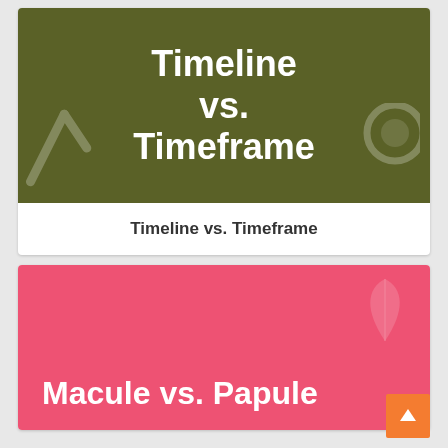[Figure (illustration): Dark olive/green banner with large bold white text reading 'Timeline vs. Timeframe' centered, with faint decorative icons in background corners]
Timeline vs. Timeframe
[Figure (illustration): Pink/rose banner with bold white text reading 'Macule vs. Papule' in lower left, with faint leaf/feather decorative icon in top right corner]
Macule vs. Papule